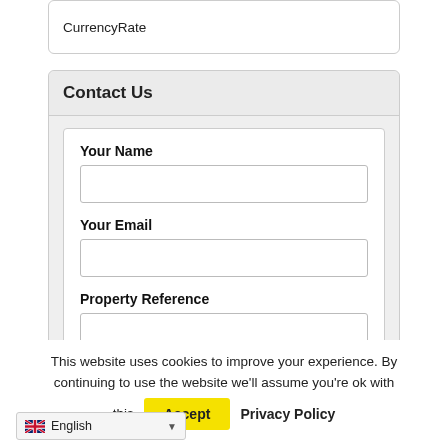CurrencyRate
Contact Us
Your Name
Your Email
Property Reference
This website uses cookies to improve your experience. By continuing to use the website we'll assume you're ok with this  Accept  Privacy Policy